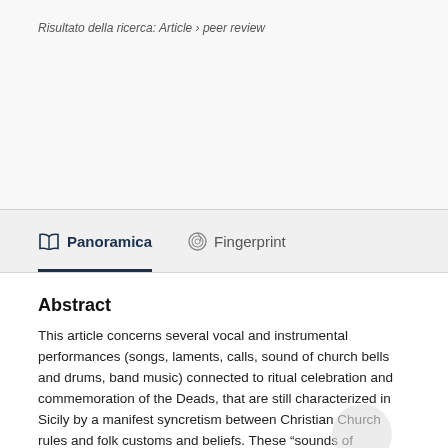Risultato della ricerca: Article › peer review
Panoramica
Fingerprint
Abstract
This article concerns several vocal and instrumental performances (songs, laments, calls, sound of church bells and drums, band music) connected to ritual celebration and commemoration of the Deads, that are still characterized in Sicily by a manifest syncretism between Christian Church rules and folk customs and beliefs. These “sounds of complaint” have been